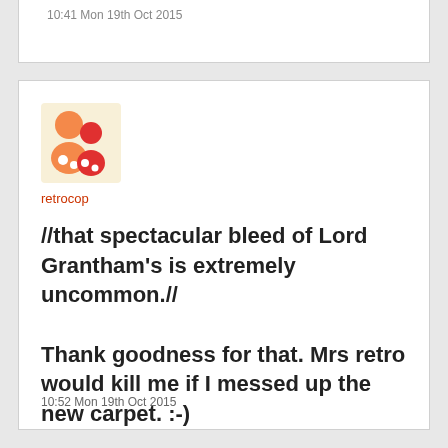10:41 Mon 19th Oct 2015
[Figure (illustration): Forum user avatar showing two stylized orange and red human figures]
retrocop
//that spectacular bleed of Lord Grantham's is extremely uncommon.//

Thank goodness for that. Mrs retro would kill me if I messed up the new carpet. :-)
10:52 Mon 19th Oct 2015